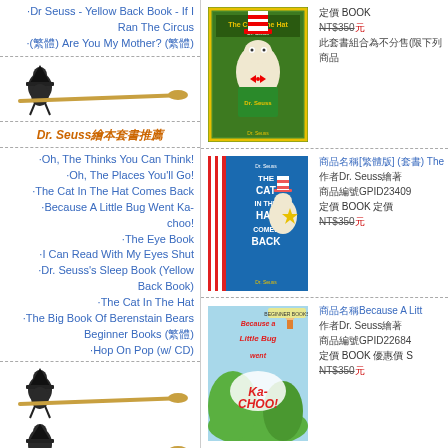·Dr Seuss - Yellow Back Book - If I Ran The Circus
·(繁體) Are You My Mother? (繁體)
[Figure (illustration): Witch on broomstick illustration]
Dr. Seuss繪本套書推薦
·Oh, The Thinks You Can Think!
·Oh, The Places You'll Go!
·The Cat In The Hat Comes Back
·Because A Little Bug Went Ka-choo!
·The Eye Book
·I Can Read With My Eyes Shut
·Dr. Seuss's Sleep Book (Yellow Back Book)
·The Cat In The Hat
·The Big Book Of Berenstain Bears Beginner Books (繁體)
·Hop On Pop (w/ CD)
[Figure (illustration): Witch on broomstick illustration]
[Figure (illustration): Witch on broomstick illustration partial]
[Figure (photo): Book cover: The Cat in the Hat by Dr. Seuss]
定價 BOOK
優惠價NT$350元
此套書組合為不分售(限下列商品)
[Figure (photo): Book cover: The Cat In The Hat Comes Back by Dr. Seuss]
商品名稱[繁體版] (套書) The Cat...
作者Dr. Seuss繪著
商品編號GPID23409
定價 BOOK 定價
優惠價NT$350元
[Figure (photo): Book cover: Because A Little Bug Went Ka-Choo by Dr. Seuss]
商品名稱Because A Litt...
作者Dr. Seuss繪著
商品編號GPID22684
定價 BOOK 優惠價 S...
優惠價NT$350元